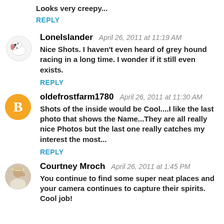Looks very creepy...
REPLY
LoneIslander   April 26, 2011 at 11:19 AM
Nice Shots. I haven't even heard of grey hound racing in a long time. I wonder if it still even exists.
REPLY
oldefrostfarm1780   April 26, 2011 at 11:30 AM
Shots of the inside would be Cool....I like the last photo that shows the Name...They are all really nice Photos but the last one really catches my interest the most...
REPLY
Courtney Mroch   April 26, 2011 at 1:45 PM
You continue to find some super neat places and your camera continues to capture their spirits. Cool job!